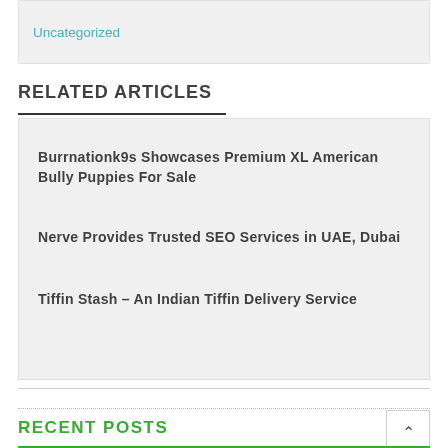Uncategorized
RELATED ARTICLES
Burrnationk9s Showcases Premium XL American Bully Puppies For Sale
Nerve Provides Trusted SEO Services in UAE, Dubai
Tiffin Stash – An Indian Tiffin Delivery Service
RECENT POSTS